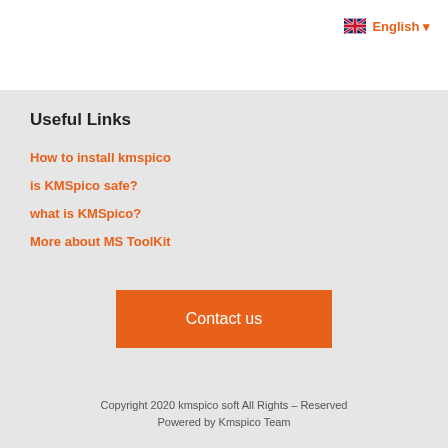[Figure (logo): UK flag icon with 'English' text and dropdown arrow in orange]
Useful Links
How to install kmspico
is KMSpico safe?
what is KMSpico?
More about MS ToolKit
Contact us
Copyright 2020 kmspico soft All Rights – Reserved
Powered by Kmspico Team